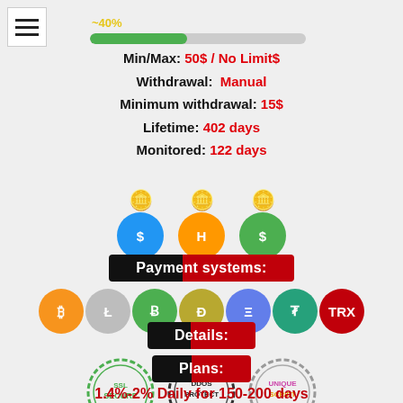[Figure (infographic): Hamburger menu icon (three horizontal lines) in white box top-left]
[Figure (infographic): Progress bar showing approximately 45% fill in green, with yellow percent label above]
Min/Max: 50$ / No Limit$
Withdrawal: Manual
Minimum withdrawal: 15$
Lifetime: 402 days
Monitored: 122 days
[Figure (illustration): Three money bag icons with $ H $ symbols in blue, orange, and green circles]
Payment systems:
[Figure (illustration): Seven cryptocurrency icons: Bitcoin, Litecoin, Bitcoin Cash, Dash, Ethereum, Tether, Tron]
Details:
[Figure (illustration): Three stamp badges: SSL Secure (green), DDoS Protect (black/white), Unique Script (colorful)]
Plans:
1.4%-2% Daily for 150-200 days